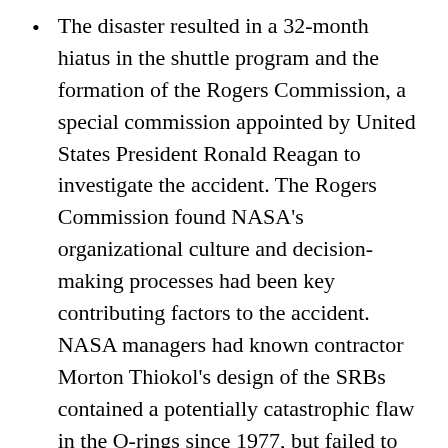The disaster resulted in a 32-month hiatus in the shuttle program and the formation of the Rogers Commission, a special commission appointed by United States President Ronald Reagan to investigate the accident. The Rogers Commission found NASA's organizational culture and decision-making processes had been key contributing factors to the accident. NASA managers had known contractor Morton Thiokol's design of the SRBs contained a potentially catastrophic flaw in the O-rings since 1977, but failed to address it properly. They also disregarded warnings from engineers about the dangers of launching posed by the low temperatures of that morning and had failed to